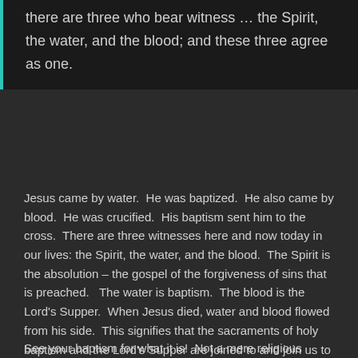there are three who bear witness … the Spirit, the water, and the blood; and these three agree as one.
Jesus came by water.  He was baptized.  He also came by blood.  He was crucified.  His baptism sent him to the cross.  There are three witnesses here and now today in our lives: the Spirit, the water, and the blood.  The Spirit is the absolution – the gospel of the forgiveness of sins that is preached.   The water is baptism.  The blood is the Lord's Supper.  When Jesus died, water and blood flowed from his side.  This signifies that the sacraments of holy baptism and the Lord's Supper are joined to and join us to the crucifixion of Jesus on the cross.
See your baptism for what it is!  Not a mere religious